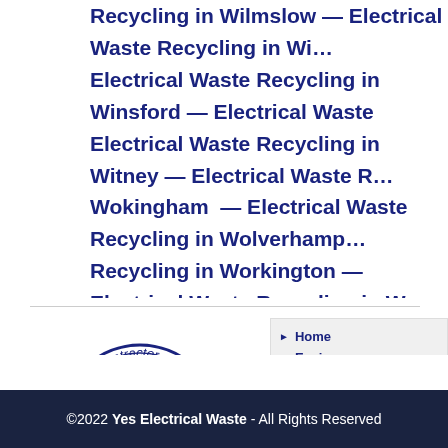Recycling in Wilmslow — Electrical Waste Recycling in Wi… Electrical Waste Recycling in Winsford — Electrical Waste Electrical Waste Recycling in Witney — Electrical Waste R… Wokingham — Electrical Waste Recycling in Wolverhamp… Recycling in Workington — Electrical Waste Recycling in W… Waste Recycling in Wrexham — Electrical Waste Recyclin…
[Figure (logo): SAFEcontractor APPROVED circular logo with red arrow and bird emblem]
Home
Environm…
Licences
Testimoni…
Contact U…
©2022 Yes Electrical Waste - All Rights Reserved